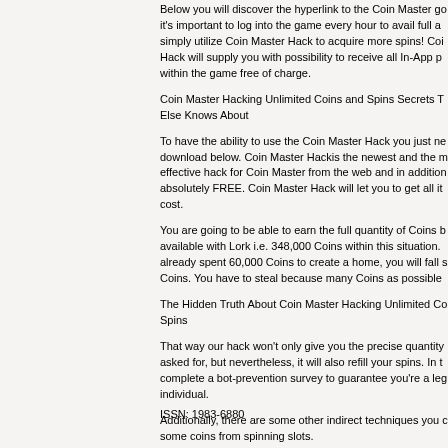Below you will discover the hyperlink to the Coin Master go it's important to log into the game every hour to avail full a simply utilize Coin Master Hack to acquire more spins! Coin Hack will supply you with possibility to receive all In-App p within the game free of charge.
Coin Master Hacking Unlimited Coins and Spins Secrets T Else Knows About
To have the ability to use the Coin Master Hack you just ne download below. Coin Master Hackis the newest and the m effective hack for Coin Master from the web and in addition absolutely FREE. Coin Master Hack will let you to get all it cost.
You are going to be able to earn the full quantity of Coins b available with Lork i.e. 348,000 Coins within this situation. already spent 60,000 Coins to create a home, you will fall s Coins. You have to steal because many Coins as possible
The Hidden Truth About Coin Master Hacking Unlimited Co Spins
That way our hack won't only give you the precise quantity asked for, but nevertheless, it will also refill your spins. In t complete a bot-prevention survey to guarantee you're a leg individual.
Additionally, there are some other indirect techniques you  some coins from spinning slots.
ISSN: 1983-6880